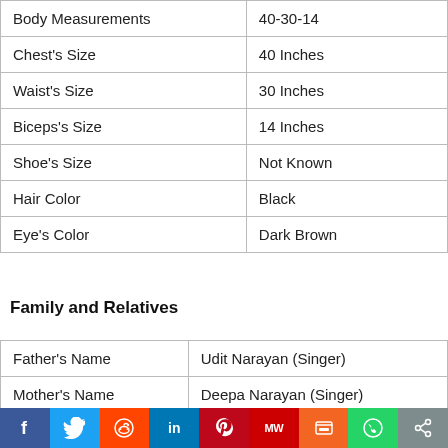|  |  |
| --- | --- |
| Body Measurements | 40-30-14 |
| Chest's Size | 40 Inches |
| Waist's Size | 30 Inches |
| Biceps's Size | 14 Inches |
| Shoe's Size | Not Known |
| Hair Color | Black |
| Eye's Color | Dark Brown |
Family and Relatives
|  |  |
| --- | --- |
| Father's Name | Udit Narayan (Singer) |
| Mother's Name | Deepa Narayan (Singer) |
f  Twitter  Reddit  in  Pinterest  MW  Mix  WhatsApp  Share